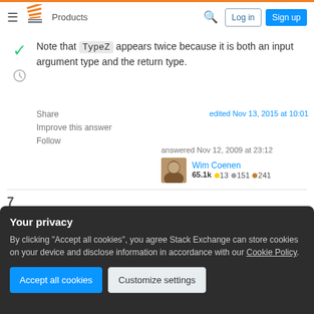≡  Products  🔍  Log in  Sign up
Note that TypeZ appears twice because it is both an input argument type and the return type.
Share
Improve this answer
Follow
edited Nov 13, 2015 at 10:01
answered Nov 12, 2009 at 23:12
Wim Coenen
65.1k • 13 • 151 • 241
Your privacy
By clicking "Accept all cookies", you agree Stack Exchange can store cookies on your device and disclose information in accordance with our Cookie Policy.
Accept all cookies   Customize settings